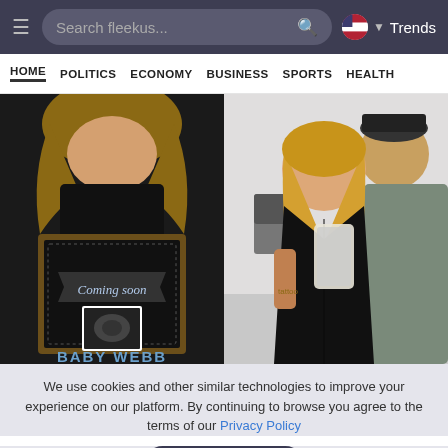Search fleekus... [search icon] [US flag] Trends
HOME  POLITICS  ECONOMY  BUSINESS  SPORTS  HEALTH
[Figure (photo): Left photo: woman in black turtleneck holding a chalkboard sign reading 'Coming Soon' with an ultrasound image and 'BABY WEBB' written below. Right photo: blonde woman in black outfit taking a mirror selfie with a man in a grey t-shirt.]
We use cookies and other similar technologies to improve your experience on our platform. By continuing to browse you agree to the terms of our Privacy Policy
OK!